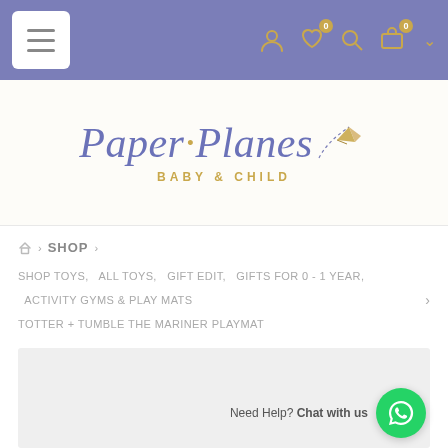Paper Planes Baby & Child — navigation bar
[Figure (logo): Paper Planes Baby & Child logo with cursive text and paper plane illustration]
Home > SHOP >
SHOP TOYS,  ALL TOYS,  GIFT EDIT,  GIFTS FOR 0 - 1 YEAR,  ACTIVITY GYMS & PLAY MATS  >
TOTTER + TUMBLE THE MARINER PLAYMAT
[Figure (photo): Product image area — light grey placeholder for the Mariner Playmat product photo]
Need Help? Chat with us